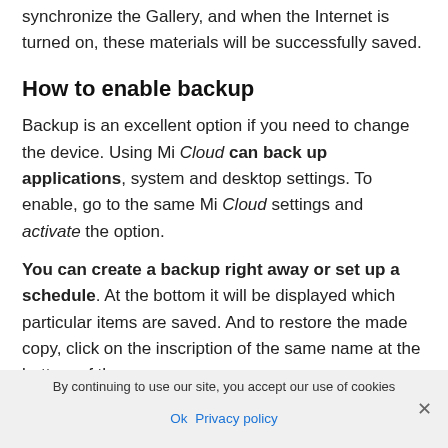synchronize the Gallery, and when the Internet is turned on, these materials will be successfully saved.
How to enable backup
Backup is an excellent option if you need to change the device. Using Mi Cloud can back up applications, system and desktop settings. To enable, go to the same Mi Cloud settings and activate the option.
You can create a backup right away or set up a schedule. At the bottom it will be displayed which particular items are saved. And to restore the made copy, click on the inscription of the same name at the bottom of the
By continuing to use our site, you accept our use of cookies
Ok   Privacy policy